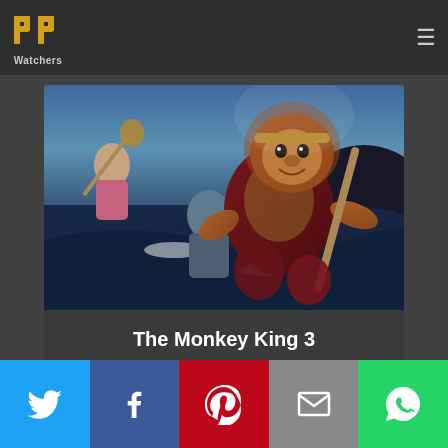PP Watchers
[Figure (photo): Movie poster for The Monkey King 3 showing a CGI monkey warrior character in red armor holding a staff, with other characters in the background over a dramatic ocean scene]
The Monkey King 3
[Figure (infographic): Social sharing bar with five buttons: Twitter (blue), Facebook (dark blue), Pinterest (red), Email (grey), WhatsApp (green)]